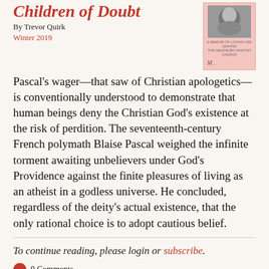Children of Doubt
By Trevor Quirk
Winter 2019
[Figure (photo): Book cover with a black-and-white photo and subtitle text: A MEMOIR OF LOVING AND LEAVING THE WESTBORO BAPTIST CHURCH]
Pascal's wager—that saw of Christian apologetics—is conventionally understood to demonstrate that human beings deny the Christian God's existence at the risk of perdition. The seventeenth-century French polymath Blaise Pascal weighed the infinite torment awaiting unbelievers under God's Providence against the finite pleasures of living as an atheist in a godless universe. He concluded, regardless of the deity's actual existence, that the only rational choice is to adopt cautious belief.
To continue reading, please login or subscribe.
0 Comments